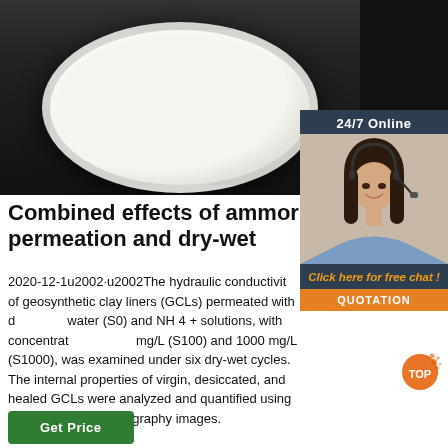[Figure (photo): Photo of a petri dish containing white powder/material on a dark background]
[Figure (illustration): 24/7 Online chat widget showing a woman with headset and options for free chat and quotation]
Combined effects of ammor permeation and dry-wet
2020-12-1u2002·u2002The hydraulic conductivity of geosynthetic clay liners (GCLs) permeated with deionized water (S0) and NH 4 + solutions, with concentrations of 100 mg/L (S100) and 1000 mg/L (S1000), was examined under six dry-wet cycles. The internal properties of virgin, desiccated, and healed GCLs were analyzed and quantified using X-ray computed tomography images.
[Figure (illustration): TOP badge/watermark in orange]
Get Price